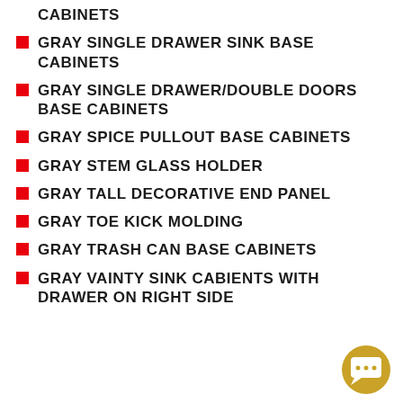CABINETS
GRAY SINGLE DRAWER SINK BASE CABINETS
GRAY SINGLE DRAWER/DOUBLE DOORS BASE CABINETS
GRAY SPICE PULLOUT BASE CABINETS
GRAY STEM GLASS HOLDER
GRAY TALL DECORATIVE END PANEL
GRAY TOE KICK MOLDING
GRAY TRASH CAN BASE CABINETS
GRAY VAINTY SINK CABIENTS WITH DRAWER ON RIGHT SIDE